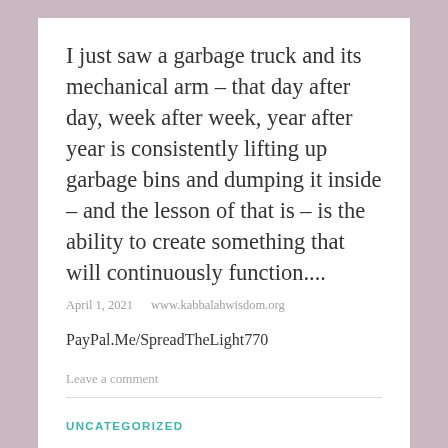I just saw a garbage truck and its mechanical arm – that day after day, week after week, year after year is consistently lifting up garbage bins and dumping it inside – and the lesson of that is – is the ability to create something that will continuously function....
April 1, 2021   www.kabbalahwisdom.org
PayPal.Me/SpreadTheLight770
Leave a comment
UNCATEGORIZED